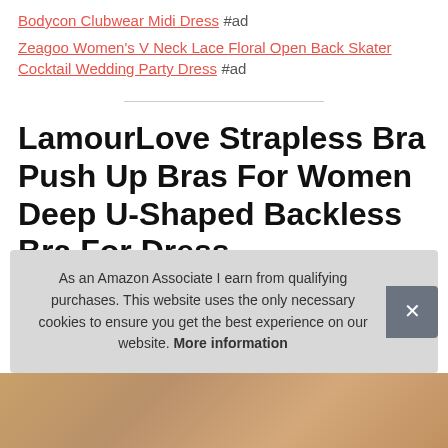Bodycon Clubwear Midi Dress #ad
Zeagoo Women's V Neck Lace Floral Open Back Skater Cocktail Wedding Party Dress #ad
LamourLove Strapless Bra Push Up Bras For Women Deep U-Shaped Backless Bra For Dress
As an Amazon Associate I earn from qualifying purchases. This website uses the only necessary cookies to ensure you get the best experience on our website. More information